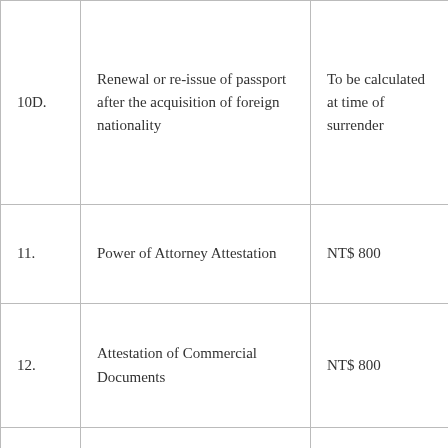| 10D. | Renewal or re-issue of passport after the acquisition of foreign nationality | To be calculated at time of surrender |
| 11. | Power of Attorney Attestation | NT$ 800 |
| 12. | Attestation of Commercial Documents | NT$ 800 |
| 13. | Attestation of Indian Documents | NT$ 800 |
| 14. | Life Certificate to Pensioners | NT$ 800 |